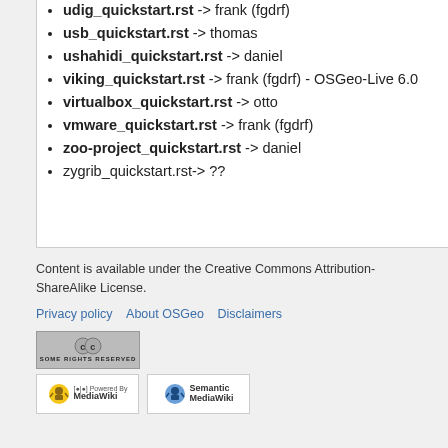udig_quickstart.rst -> frank (fgdrf)
usb_quickstart.rst -> thomas
ushahidi_quickstart.rst -> daniel
viking_quickstart.rst -> frank (fgdrf) - OSGeo-Live 6.0
virtualbox_quickstart.rst -> otto
vmware_quickstart.rst -> frank (fgdrf)
zoo-project_quickstart.rst -> daniel
zygrib_quickstart.rst-> ??
Content is available under the Creative Commons Attribution-ShareAlike License.
Privacy policy  About OSGeo  Disclaimers
[Figure (logo): Creative Commons Some Rights Reserved badge]
[Figure (logo): Powered by MediaWiki badge]
[Figure (logo): Semantic MediaWiki badge]